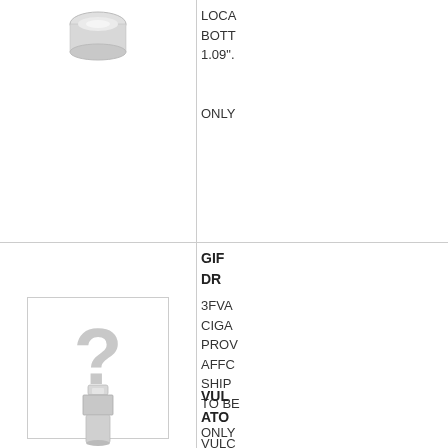[Figure (photo): Product photo of a small metallic atomizer/drip tip component, silver colored, shown from above]
LOCA BOTT 1.09" ONLY
[Figure (photo): Placeholder image with a large grey question mark and a small grey square below it, indicating missing product image]
GIF DR 3FVA CIGA PROV AFFC SHIP TO BE ONLY
[Figure (photo): Product photo of a VULC atomizer component, small metallic silver piece]
VUL ATO VULC ATOM